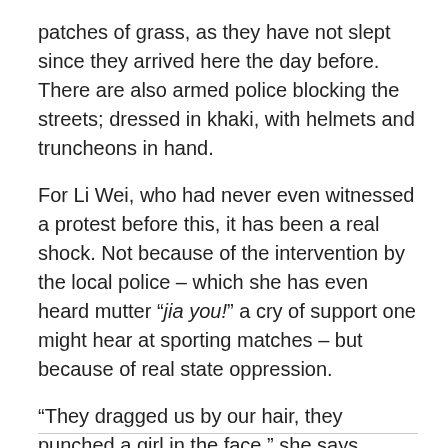patches of grass, as they have not slept since they arrived here the day before. There are also armed police blocking the streets; dressed in khaki, with helmets and truncheons in hand.
For Li Wei, who had never even witnessed a protest before this, it has been a real shock. Not because of the intervention by the local police – which she has even heard mutter “jia you!” a cry of support one might hear at sporting matches – but because of real state oppression.
“They dragged us by our hair, they punched a girl in the face,” she says, behind lensless glasses, as she switches to English: “I really wanted to just say to them… fuck you!”
Read the original article on LE MONDE.